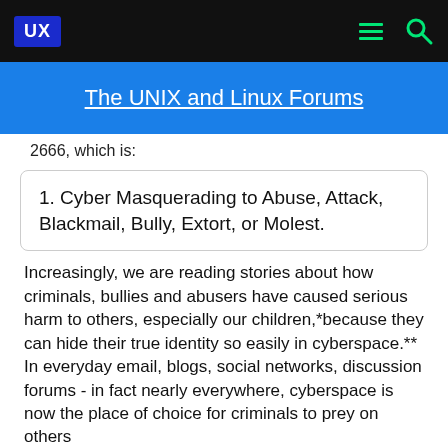UX | The UNIX and Linux Forums
2666, which is:
1. Cyber Masquerading to Abuse, Attack, Blackmail, Bully, Extort, or Molest.
Increasingly, we are reading stories about how criminals, bullies and abusers have caused serious harm to others, especially our children,*because they can hide their true identity so easily in cyberspace.** In everyday email, blogs, social networks, discussion forums - in fact nearly everywhere, cyberspace is now the place of choice for criminals to prey on others